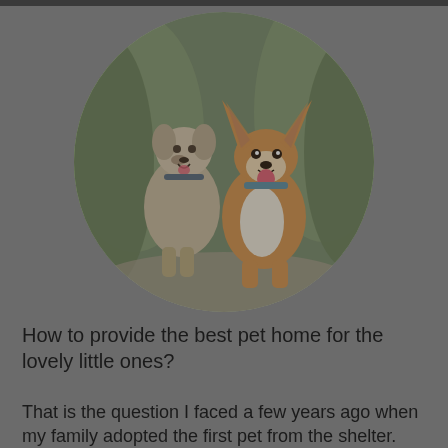[Figure (photo): A circular photo of two dogs outdoors among green foliage. On the left is a smaller mixed-breed dog with a gray collar, and on the right is a Corgi with large ears and a collar, both appearing happy with mouths open.]
How to provide the best pet home for the lovely little ones?
That is the question I faced a few years ago when my family adopted the first pet from the shelter. Ever